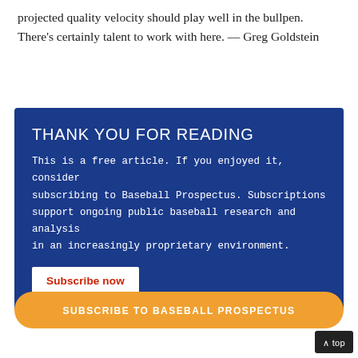projected quality velocity should play well in the bullpen. There’s certainly talent to work with here. — Greg Goldstein
THANK YOU FOR READING
This is a free article. If you enjoyed it, consider subscribing to Baseball Prospectus. Subscriptions support ongoing public baseball research and analysis in an increasingly proprietary environment.
Subscribe now
SUBSCRIBE TO BASEBALL PROSPECTUS
∧ top